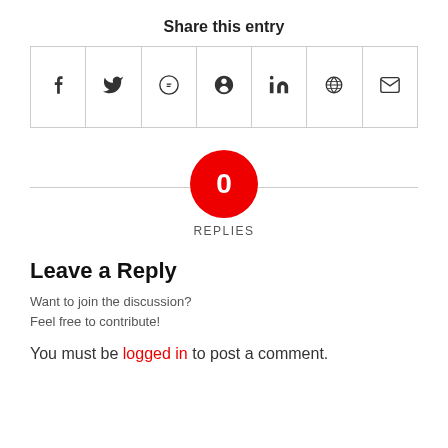Share this entry
[Figure (other): Social sharing icons row: Facebook, Twitter, WhatsApp, Pinterest, LinkedIn, Reddit, Email]
[Figure (infographic): Red circle badge with '0' and 'REPLIES' label below, with horizontal divider line]
Leave a Reply
Want to join the discussion?
Feel free to contribute!
You must be logged in to post a comment.